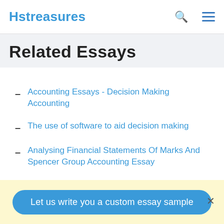Hstreasures
Related Essays
Accounting Essays - Decision Making Accounting
The use of software to aid decision making
Analysing Financial Statements Of Marks And Spencer Group Accounting Essay
The Origin Of Loss Of Credibility Accounting Essay
The International Financial Reporting Standards
Let us write you a custom essay sample